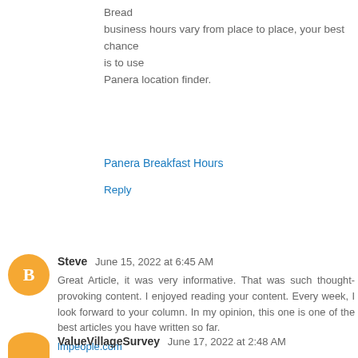Bread business hours vary from place to place, your best chance is to use Panera location finder.
Panera Breakfast Hours
Reply
Steve  June 15, 2022 at 6:45 AM
Great Article, it was very informative. That was such thought-provoking content. I enjoyed reading your content. Every week, I look forward to your column. In my opinion, this one is one of the best articles you have written so far.
lmpeople.com
dna.hrblock.com
Reply
ValueVillageSurvey  June 17, 2022 at 2:48 AM